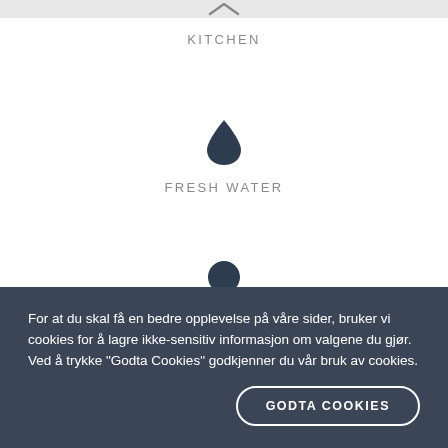^
KITCHEN
[Figure (illustration): Water drop icon]
FRESH WATER
[Figure (illustration): Light bulb icon]
ELECTRICITY
For at du skal få en bedre opplevelse på våre sider, bruker vi cookies for å lagre ikke-sensitiv informasjon om valgene du gjør. Ved å trykke "Godta Cookies" godkjenner du vår bruk av cookies.
GODTA COOKIES